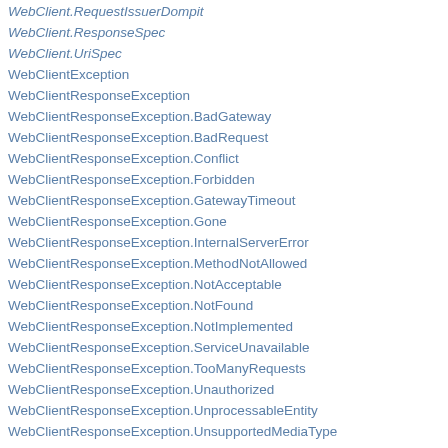WebClient.RequestIssuerDompit
WebClient.ResponseSpec
WebClient.UriSpec
WebClientException
WebClientResponseException
WebClientResponseException.BadGateway
WebClientResponseException.BadRequest
WebClientResponseException.Conflict
WebClientResponseException.Forbidden
WebClientResponseException.GatewayTimeout
WebClientResponseException.Gone
WebClientResponseException.InternalServerError
WebClientResponseException.MethodNotAllowed
WebClientResponseException.NotAcceptable
WebClientResponseException.NotFound
WebClientResponseException.NotImplemented
WebClientResponseException.ServiceUnavailable
WebClientResponseException.TooManyRequests
WebClientResponseException.Unauthorized
WebClientResponseException.UnprocessableEntity
WebClientResponseException.UnsupportedMediaType
WebConnectionHtmlUnitDriver
WebContentGenerator
WebContentInterceptor
WebDataBinder
WebDataBinderFactory
WebDelegatingSmartContextLoader
WebExceptionHandler
WebExchangeBindException